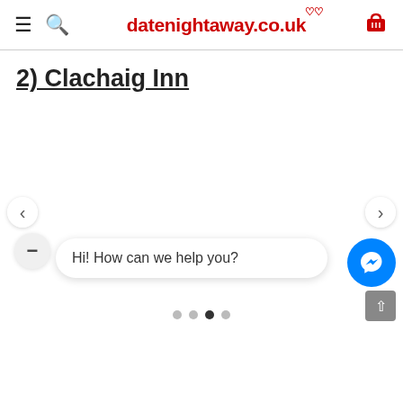datenightaway.co.uk
2) Clachaig Inn
[Figure (other): Image carousel with left and right navigation arrows, currently showing no image (blank area). Navigation dots below indicate multiple slides; the third dot is active.]
Hi! How can we help you?